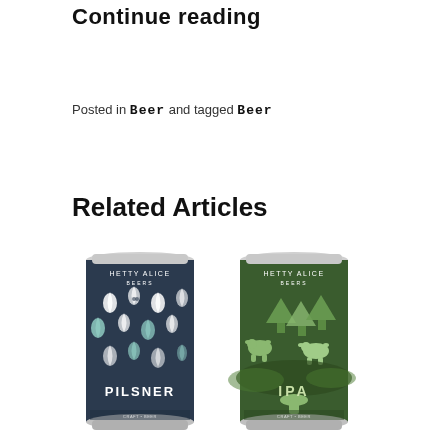Continue reading
Posted in Beer and tagged Beer
Related Articles
[Figure (photo): Two Hetty Alice Beers cans side by side: a dark navy Pilsner can with raindrop pattern on the left, and a dark green IPA can with bear/tree pattern on the right.]